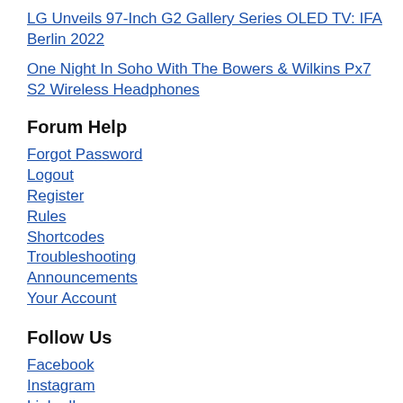LG Unveils 97-Inch G2 Gallery Series OLED TV: IFA Berlin 2022
One Night In Soho With The Bowers & Wilkins Px7 S2 Wireless Headphones
Forum Help
Forgot Password
Logout
Register
Rules
Shortcodes
Troubleshooting
Announcements
Your Account
Follow Us
Facebook
Instagram
LinkedIn
Twitter @ecoustics